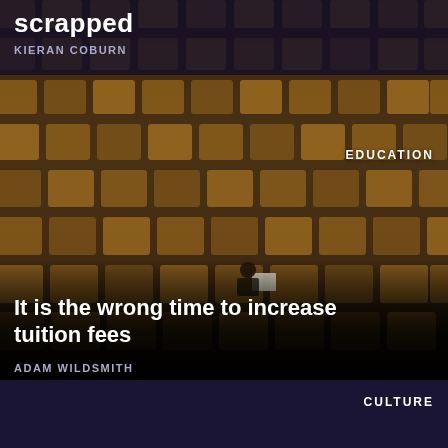scrapped
KIERAN COBURN
[Figure (photo): Empty lecture hall with rows of amber/orange seats, single person sitting alone in the middle of the hall reading papers]
EDUCATION
It is the wrong time to increase tuition fees
ADAM WILDSMITH
CULTURE